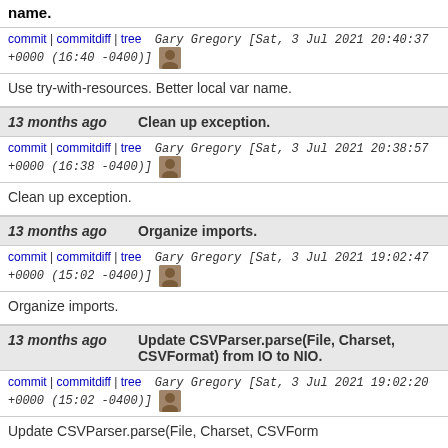name.
commit | commitdiff | tree   Gary Gregory [Sat, 3 Jul 2021 20:40:37 +0000 (16:40 -0400)]
Use try-with-resources. Better local var name.
13 months ago   Clean up exception.
commit | commitdiff | tree   Gary Gregory [Sat, 3 Jul 2021 20:38:57 +0000 (16:38 -0400)]
Clean up exception.
13 months ago   Organize imports.
commit | commitdiff | tree   Gary Gregory [Sat, 3 Jul 2021 19:02:47 +0000 (15:02 -0400)]
Organize imports.
13 months ago   Update CSVParser.parse(File, Charset, CSVFormat) from IO to NIO.
commit | commitdiff | tree   Gary Gregory [Sat, 3 Jul 2021 19:02:20 +0000 (15:02 -0400)]
Update CSVParser.parse(File, Charset, CSVForm